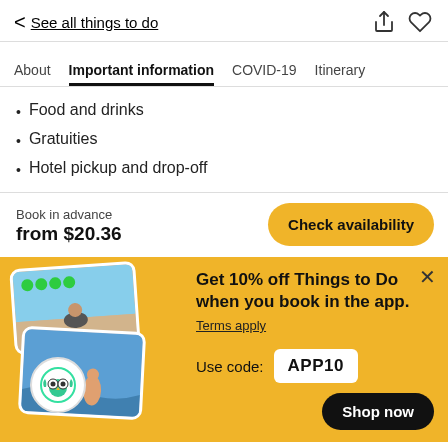< See all things to do
About | Important information | COVID-19 | Itinerary
Food and drinks
Gratuities
Hotel pickup and drop-off
Book in advance
from $20.36
Check availability
Get 10% off Things to Do when you book in the app.
Terms apply
Use code: APP10
Shop now